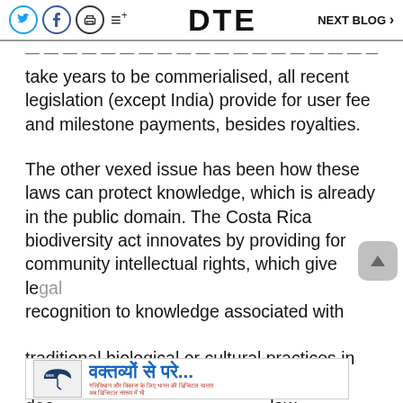DTE   NEXT BLOG >
take years to be commerialised, all recent legislation (except India) provide for user fee and milestone payments, besides royalties.
The other vexed issue has been how these laws can protect knowledge, which is already in the public domain. The Costa Rica biodiversity act innovates by providing for community intellectual rights, which give legal recognition to knowledge associated with traditional biological or cultural practices in the dec law